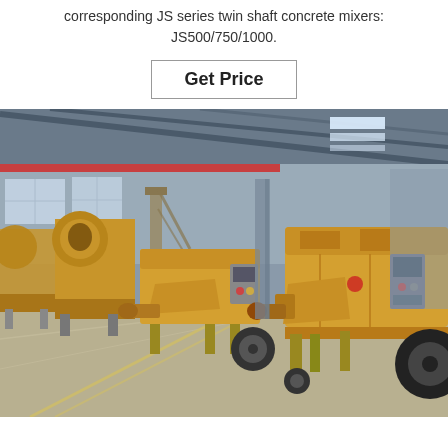corresponding JS series twin shaft concrete mixers: JS500/750/1000.
Get Price
[Figure (photo): Multiple yellow concrete mixer pump machines lined up inside an industrial factory/warehouse with steel structure roof. The machines have a drum mixer and pumping unit on wheeled trailers, photographed from the front-left angle.]